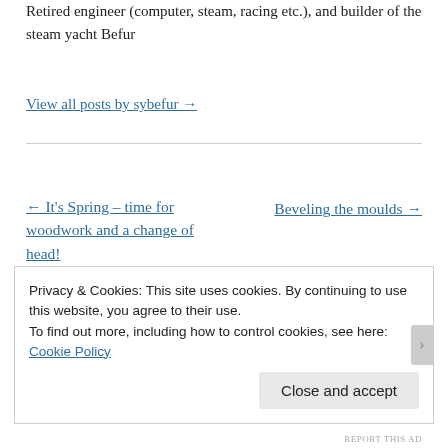Retired engineer (computer, steam, racing etc.), and builder of the steam yacht Befur
View all posts by sybefur →
← It's Spring – time for woodwork and a change of head!
Beveling the moulds →
Privacy & Cookies: This site uses cookies. By continuing to use this website, you agree to their use.
To find out more, including how to control cookies, see here: Cookie Policy
Close and accept
REPORT THIS AD